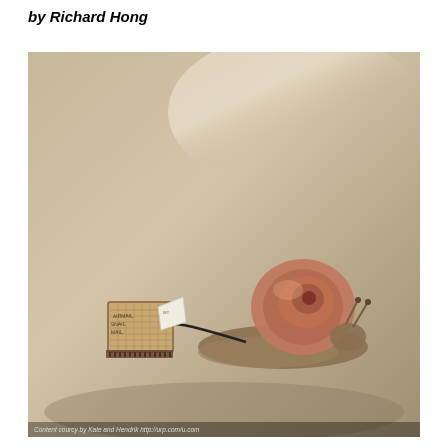by Richard Hong
[Figure (photo): A snail on a flat surface pulling a small luggage-like package behind it with a thin cord. The package appears to be wrapped in burlap with handwritten text. A caption at the bottom reads: Content courcy by Kate and Hendrik http://urp.com/u.com]